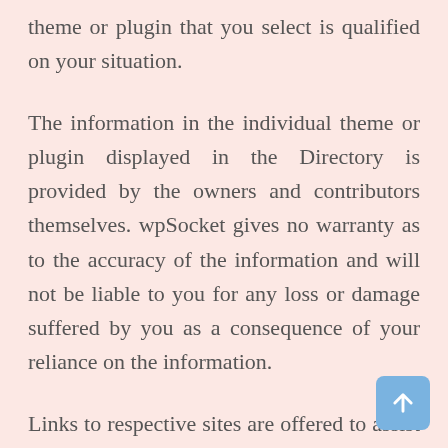theme or plugin that you select is qualified on your situation.
The information in the individual theme or plugin displayed in the Directory is provided by the owners and contributors themselves. wpSocket gives no warranty as to the accuracy of the information and will not be liable to you for any loss or damage suffered by you as a consequence of your reliance on the information.
Links to respective sites are offered to assist in accessing additional information. The links may be outdated or broken. Connect to outside sites at your own risk. The Theme/Plugin Directory does not endorse the content or